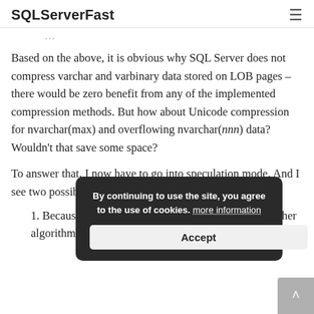SQLServerFast
Based on the above, it is obvious why SQL Server does not compress varchar and varbinary data stored on LOB pages – there would be zero benefit from any of the implemented compression methods. But how about Unicode compression for nvarchar(max) and overflowing nvarchar(nnn) data? Wouldn't that save some space?
To answer that, I now have to go into speculation mode. And I see two possible theories:
1. Because the SCSU algorithm gives less spacing than other algorithms, the SQL